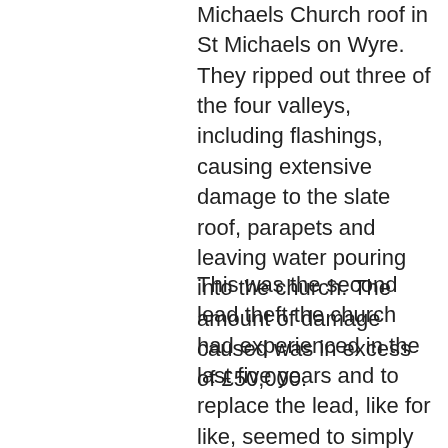Michaels Church roof in St Michaels on Wyre.  They ripped out three of the four valleys, including flashings, causing extensive damage to the slate roof, parapets and leaving water pouring into the church. The amount of damage caused was in excess of £50,000.
This was the second lead theft the church had experienced in the last five years and to replace the lead, like for like, seemed to simply supply the thieves with more fodder for the future. In the light of this, an alternative roofing material was sought: something similar to lead in appearance with a long life span,